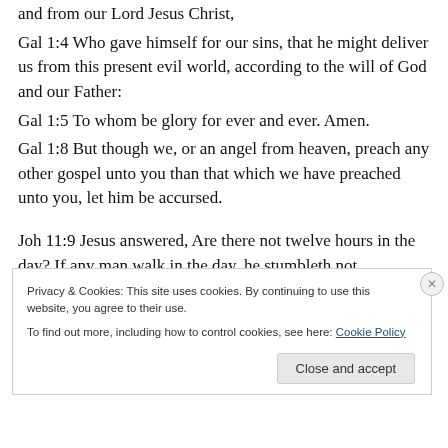and from our Lord Jesus Christ,
Gal 1:4 Who gave himself for our sins, that he might deliver us from this present evil world, according to the will of God and our Father:
Gal 1:5 To whom be glory for ever and ever. Amen.
Gal 1:8 But though we, or an angel from heaven, preach any other gospel unto you than that which we have preached unto you, let him be accursed.
Joh 11:9 Jesus answered, Are there not twelve hours in the day? If any man walk in the day, he stumbleth not,
Privacy & Cookies: This site uses cookies. By continuing to use this website, you agree to their use.
To find out more, including how to control cookies, see here: Cookie Policy
Close and accept